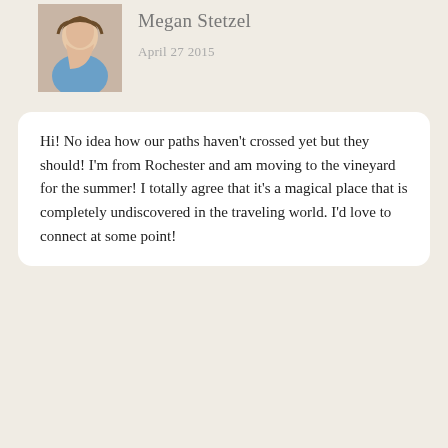Megan Stetzel
April 27 2015
Hi! No idea how our paths haven't crossed yet but they should! I'm from Rochester and am moving to the vineyard for the summer! I totally agree that it's a magical place that is completely undiscovered in the traveling world. I'd love to connect at some point!
REPLY
Alex
April 29 2015
That is amazing Megan! What are you going to be